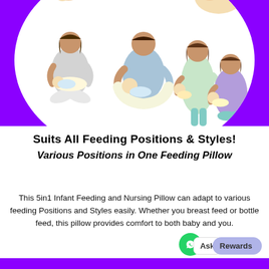[Figure (illustration): Infographic showing various breastfeeding and bottle-feeding positions including cradle hold, football hold, and side-lying position, with illustrations of parents feeding babies in different ways, on a white circular background over purple background.]
Suits All Feeding Positions & Styles!
Various Positions in One Feeding Pillow
This 5in1 Infant Feeding and Nursing Pillow can adapt to various feeding Positions and Styles easily. Whether you breast feed or bottle feed, this pillow provides comfort to both baby and you.